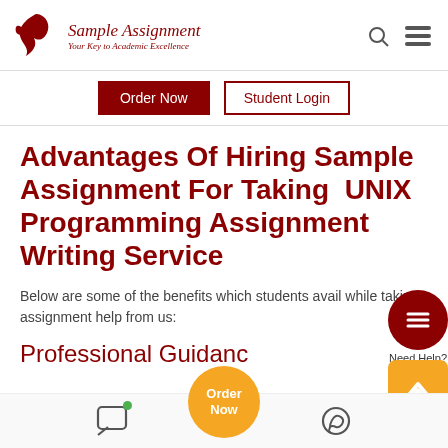Sample Assignment — Your Key to Academic Excellence
Order Now | Student Login
Advantages Of Hiring Sample Assignment For Taking UNIX Programming Assignment Writing Service
Below are some of the benefits which students avail while taking assignment help from us:
Professional Guidance